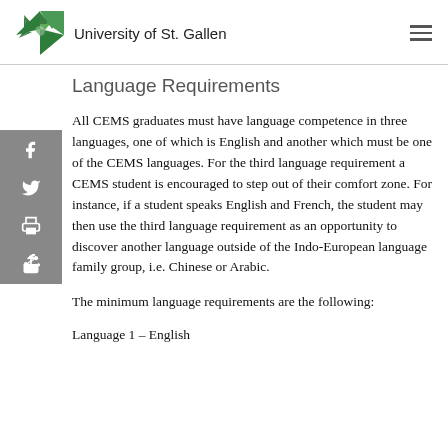University of St. Gallen
Language Requirements
All CEMS graduates must have language competence in three languages, one of which is English and another which must be one of the CEMS languages. For the third language requirement a CEMS student is encouraged to step out of their comfort zone. For instance, if a student speaks English and French, the student may then use the third language requirement as an opportunity to discover another language outside of the Indo-European language family group, i.e. Chinese or Arabic.
The minimum language requirements are the following:
Language 1 – English